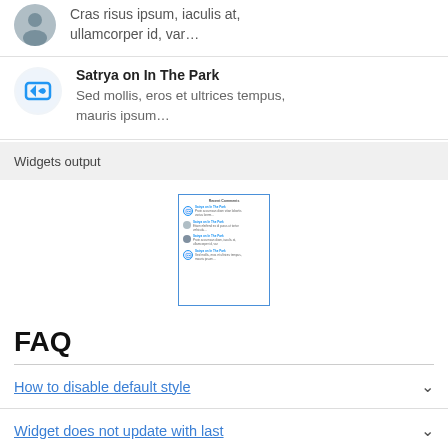Cras risus ipsum, iaculis at, ullamcorper id, var…
Satrya on In The Park
Sed mollis, eros et ultrices tempus, mauris ipsum…
Widgets output
[Figure (screenshot): Small preview screenshot of a widget list showing recent comments with avatars and text entries.]
FAQ
How to disable default style
Widget does not update with last